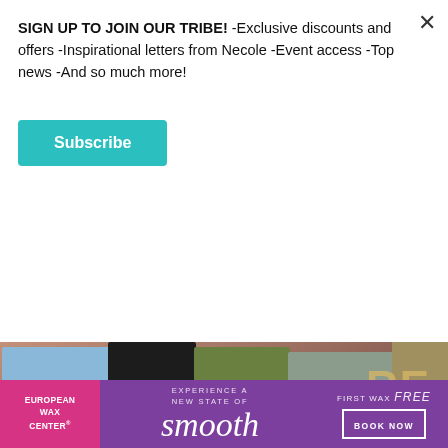SIGN UP TO JOIN OUR TRIBE! -Exclusive discounts and offers -Inspirational letters from Necole -Event access -Top news -And so much more!
Subscribe
[Figure (photo): Four people standing at what appears to be a movie premiere or event, shown from waist down. One person in light blue suit, one in black, one in olive green dress, one in grey suit. Text 'RE' visible on backdrop.]
Executive producer Will Packer's new film Beast stars Idris Elba as a widowed dad caring for his two daughters (Iyana Halley and Leah Sava Jeffries) after his wife dies. While he's trying to build a stronger
[Figure (infographic): European Wax Center advertisement. Pink left panel with 'EUROPEAN WAX CENTER' text. Purple center with 'EXPERIENCE A NEW STATE OF smooth'. Right side 'FIRST WAX free BOOK NOW'.]